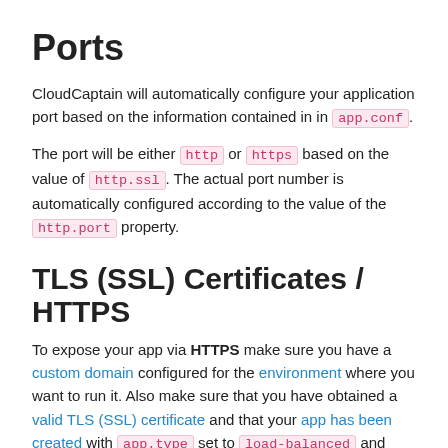Ports
CloudCaptain will automatically configure your application port based on the information contained in in app.conf.
The port will be either http or https based on the value of http.ssl. The actual port number is automatically configured according to the value of the http.port property.
TLS (SSL) Certificates / HTTPS
To expose your app via HTTPS make sure you have a custom domain configured for the environment where you want to run it. Also make sure that you have obtained a valid TLS (SSL) certificate and that your app has been created with app.type set to load-balanced and tls.type set to acm (AWS Certificate Manager).
To listen to the HTTPS port you can use the following code:
[Figure (screenshot): Start of a code block snippet, partially visible]